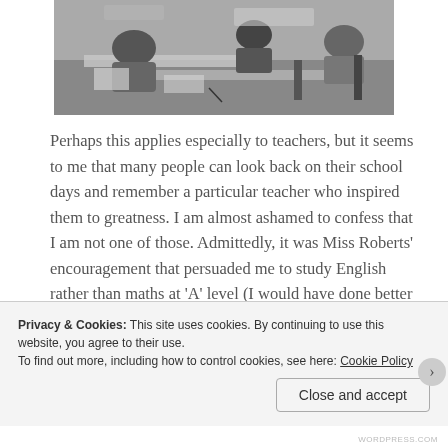[Figure (photo): Black and white photograph of students at desks in a classroom, viewed from above/side angle]
Perhaps this applies especially to teachers, but it seems to me that many people can look back on their school days and remember a particular teacher who inspired them to greatness. I am almost ashamed to confess that I am not one of those. Admittedly, it was Miss Roberts' encouragement that persuaded me to study English rather than maths at 'A' level (I would have done better at maths and it would have served me better in my first profession in banking). And Mrs
Privacy & Cookies: This site uses cookies. By continuing to use this website, you agree to their use.
To find out more, including how to control cookies, see here: Cookie Policy
Close and accept